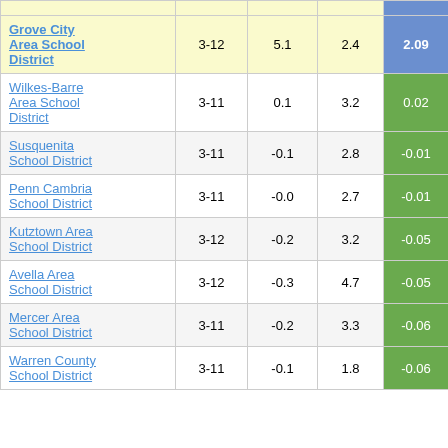| District | Grades | Col3 | Col4 | Col5 |
| --- | --- | --- | --- | --- |
| Grove City Area School District | 3-12 | 5.1 | 2.4 | 2.09 |
| Wilkes-Barre Area School District | 3-11 | 0.1 | 3.2 | 0.02 |
| Susquenita School District | 3-11 | -0.1 | 2.8 | -0.01 |
| Penn Cambria School District | 3-11 | -0.0 | 2.7 | -0.01 |
| Kutztown Area School District | 3-12 | -0.2 | 3.2 | -0.05 |
| Avella Area School District | 3-12 | -0.3 | 4.7 | -0.05 |
| Mercer Area School District | 3-11 | -0.2 | 3.3 | -0.06 |
| Warren County School District | 3-11 | -0.1 | 1.8 | -0.06 |